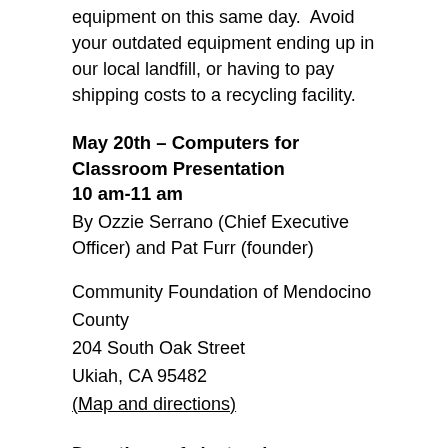equipment on this same day.  Avoid your outdated equipment ending up in our local landfill, or having to pay shipping costs to a recycling facility.
May 20th – Computers for Classroom Presentation
10 am-11 am
By Ozzie Serrano (Chief Executive Officer) and Pat Furr (founder)
Community Foundation of Mendocino County
204 South Oak Street
Ukiah, CA 95482
(Map and directions)
Donations of electronic equipment and computers from 11-12
Donations cannot be guaranteed to be accepted (due to